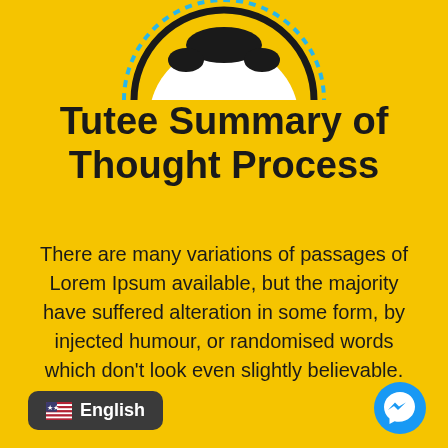[Figure (illustration): Top portion of a circular avatar/profile icon with blue dashed border ring, shown cropped at the top of the page on a yellow background.]
Tutee Summary of Thought Process
There are many variations of passages of Lorem Ipsum available, but the majority have suffered alteration in some form, by injected humour, or randomised words which don't look even slightly believable.
[Figure (logo): Dark rounded rectangle button with US flag emoji and text 'English']
[Figure (logo): Blue circular Messenger icon in bottom right corner]